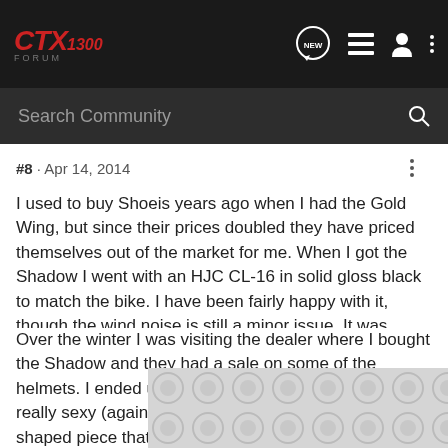CTX1300 Forum — navigation bar with logo, NEW, list, user, and menu icons
Search Community
#8 · Apr 14, 2014
I used to buy Shoeis years ago when I had the Gold Wing, but since their prices doubled they have priced themselves out of the market for me. When I got the Shadow I went with an HJC CL-16 in solid gloss black to match the bike. I have been fairly happy with it, though the wind noise is still a minor issue. It was especially easy to install the Sena Bluetooth audio system into it.
Over the winter I was visiting the dealer where I bought the Shadow and they had a sale on some of the helmets. I ended up buying a new one that looked really sexy (again, gloss black) because it had this cup-shaped piece that came up over my mou... me, though, ...one I